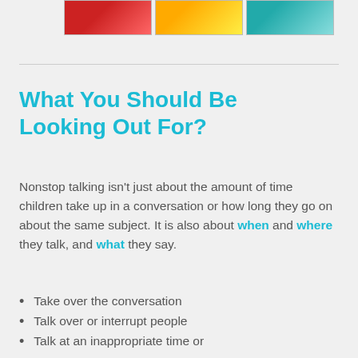[Figure (photo): Three small thumbnail images at the top of the page showing children or colorful scenes]
What You Should Be Looking Out For?
Nonstop talking isn't just about the amount of time children take up in a conversation or how long they go on about the same subject. It is also about when and where they talk, and what they say.
Take over the conversation
Talk over or interrupt people
Talk at an inappropriate time or